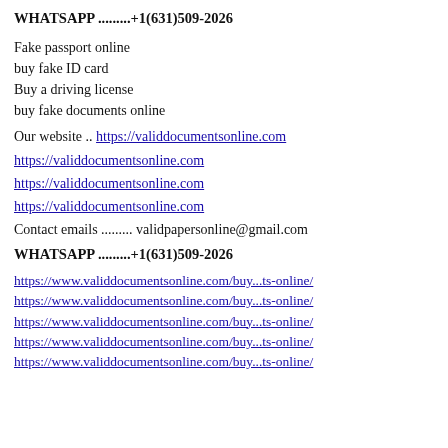WHATSAPP .........+1(631)509-2026
Fake passport online
buy fake ID card
Buy a driving license
buy fake documents online
Our website .. https://validdocumentsonline.com
https://validdocumentsonline.com
https://validdocumentsonline.com
https://validdocumentsonline.com
Contact emails ......... validpapersonline@gmail.com
WHATSAPP .........+1(631)509-2026
https://www.validdocumentsonline.com/buy...ts-online/
https://www.validdocumentsonline.com/buy...ts-online/
https://www.validdocumentsonline.com/buy...ts-online/
https://www.validdocumentsonline.com/buy...ts-online/
https://www.validdocumentsonline.com/buy...ts-online/